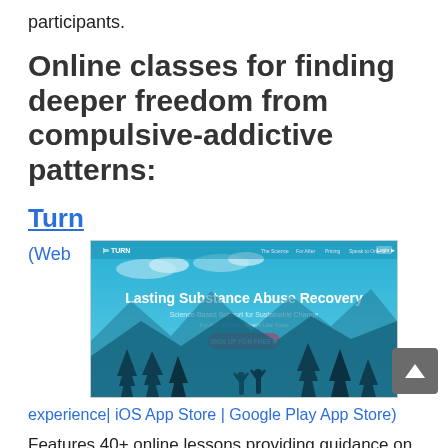participants.
Online classes for finding deeper freedom from compulsive-addictive patterns:
Turn
(Web experience| iOS App Store | Google Play App Store)
[Figure (screenshot): Screenshot of the Turn website showing 'Lasting Substance Abuse Recovery' with mountains and trees illustration, subtitle 'Science-Based Support for Sustainable Change' and a pink sign up button.]
Features 40+ online lessons providing guidance on an array of ways to deepen sobriety from drugs, alcohol and other chemical dependency issues, including mindfulness and various therapeutic lifestyle changes. Includes